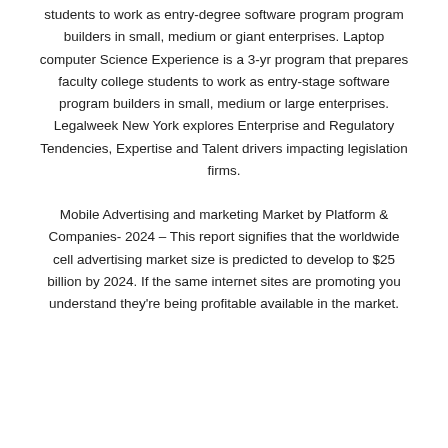students to work as entry-degree software program program builders in small, medium or giant enterprises. Laptop computer Science Experience is a 3-yr program that prepares faculty college students to work as entry-stage software program builders in small, medium or large enterprises. Legalweek New York explores Enterprise and Regulatory Tendencies, Expertise and Talent drivers impacting legislation firms.
Mobile Advertising and marketing Market by Platform & Companies- 2024 – This report signifies that the worldwide cell advertising market size is predicted to develop to $25 billion by 2024. If the same internet sites are promoting you understand they're being profitable available in the market.